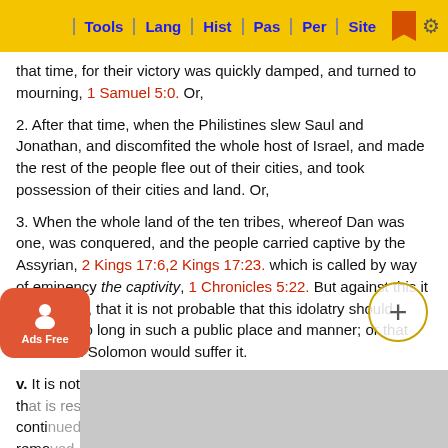Tools | Lang | Hist | Pas | Per | Site
that time, for their victory was quickly damped, and turned to mourning, 1 Samuel 5:0. Or,
2. After that time, when the Philistines slew Saul and Jonathan, and discomfited the whole host of Israel, and made the rest of the people flee out of their cities, and took possession of their cities and land. Or,
3. When the whole land of the ten tribes, whereof Dan was one, was conquered, and the people carried captive by the Assyrian, 2 Kings 17:6, 2 Kings 17:23. which is called by way of eminency the captivity, 1 Chronicles 5:22. But against this it is objected, that it is not probable that this idolatry should continue so long in such a public place and manner; or that David and Solomon would suffer it.
v. It is not said that the graven image was there so long, for that is restrained to a shorter date, even to the conti... as remo...